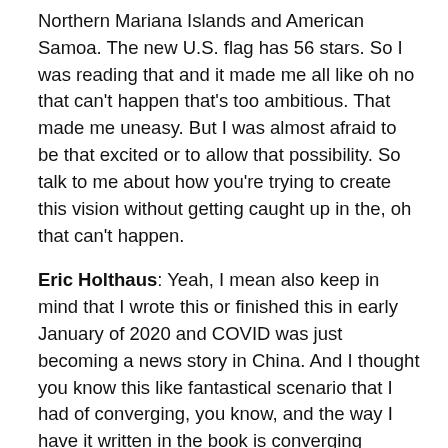Northern Mariana Islands and American Samoa.  The new U.S. flag has 56 stars.  So I was reading that and it made me all like oh no that can't happen that's too ambitious.  That made me uneasy.  But I was almost afraid to be that excited or to allow that possibility.  So talk to me about how you're trying to create this vision without getting caught up in the, oh that can't happen.
Eric Holthaus:  Yeah, I mean also keep in mind that I wrote this or finished this in early January of 2020 and COVID was just becoming a news story in China.  And I thought you know this like fantastical scenario that I had of converging, you know, and the way I have it written in the book is converging hurricane disasters in Miami and DC and Southern China and a few other places combined with you know, and El Niño and global food shortage.  And you know, kind of repeating 2015, 2016, but compressed into a span of three months and then all for whatever reason, you know, the school strike movement all of that